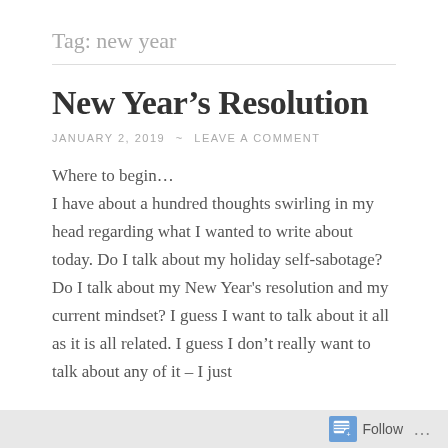Tag: new year
New Year’s Resolution
JANUARY 2, 2019  ~  LEAVE A COMMENT
Where to begin…
I have about a hundred thoughts swirling in my head regarding what I wanted to write about today. Do I talk about my holiday self-sabotage? Do I talk about my New Year's resolution and my current mindset? I guess I want to talk about it all as it is all related. I guess I don’t really want to talk about any of it – I just
Follow ...